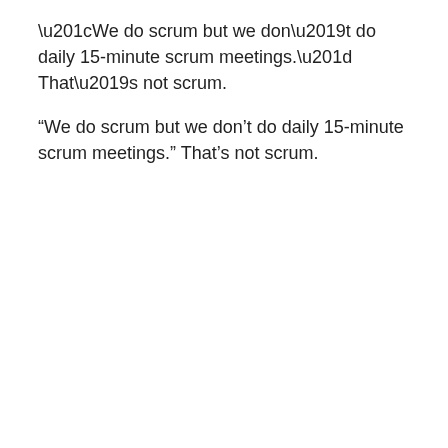“We do scrum but we don’t do daily 15-minute scrum meetings.”  That’s not scrum.
“We do scrum but we don’t have retrospectives.”  That’s not scrum.
“We do scrum but we don’t have a product owner who prioritizes the backlog.”  That’s not scrum.
So don’t say you’re doing scrum when you’re not.  “Scrum but” is not scrum.
It’s okay to be a Scrum Plus
Adding something to scrum is just fine.  What you’re adding is not scrum either, but you can call what you’re doing “scrum … plus….”
“We do scrum and we also do…